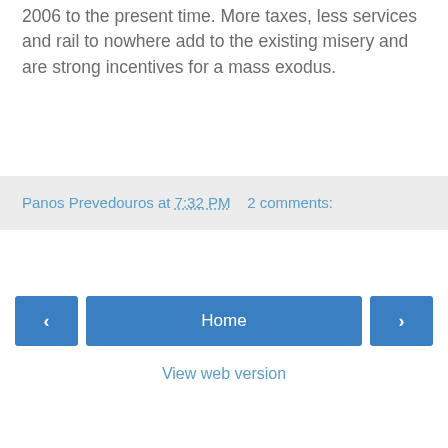2006 to the present time. More taxes, less services and rail to nowhere add to the existing misery and are strong incentives for a mass exodus.
Panos Prevedouros at 7:32 PM  2 comments:
‹  Home  ›  View web version